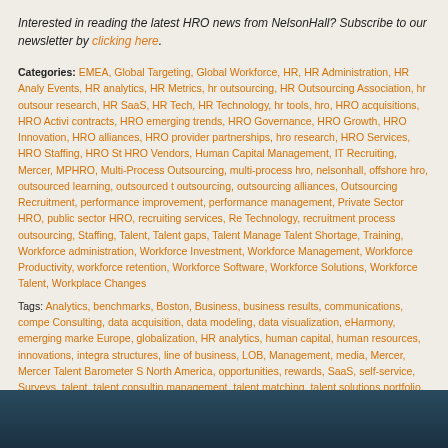Interested in reading the latest HRO news from NelsonHall? Subscribe to our newsletter by clicking here.
Categories: EMEA, Global Targeting, Global Workforce, HR, HR Administration, HR Analytics Events, HR analytics, HR Metrics, hr outsourcing, HR Outsourcing Association, hr outsourcing research, HR SaaS, HR Tech, HR Technology, hr tools, hro, HRO acquisitions, HRO Activities contracts, HRO emerging trends, HRO Governance, HRO Growth, HRO Innovation, HRO alliances, HRO provider partnerships, hro research, HRO Services, HRO Staffing, HRO St HRO Vendors, Human Capital Management, IT Recruiting, Mercer, MPHRO, Multi-Process Outsourcing, multi-process hro, nelsonhall, offshore hro, outsourced learning, outsourced outsourcing, outsourcing alliances, Outsourcing Recruitment, performance improvement, performance management, Private Sector HRO, public sector HRO, recruiting services, Re Technology, recruitment process outsourcing, Staffing, Talent, Talent gaps, Talent Manage Talent Shortage, Training, Workforce administration, Workforce Investment, Workforce Management, Workforce Productivity, workforce retention, Workforce Software, Workforce Solutions, Workforce Talent, Workplace Changes
Tags: Analytics, benchmarks, Boston, Business, business results, communications, comp Consulting, data acquisition, data modeling, data visualization, eHarmony, emerging marke Europe, globalization, HR analytics, human capital, human resources, innovations, integra structures, line of business, LOB, Management, media, Mercer, Mercer Talent Barometer S North America, opportunities, rewards, SaaS, self-service, Surveys, talent, talent consultin management, talent matching, talent solutions portfolio, talent value chain, total rewards, b workforce, workforce planning, workshops, World Economic Forum
Comments: Be the first to comment